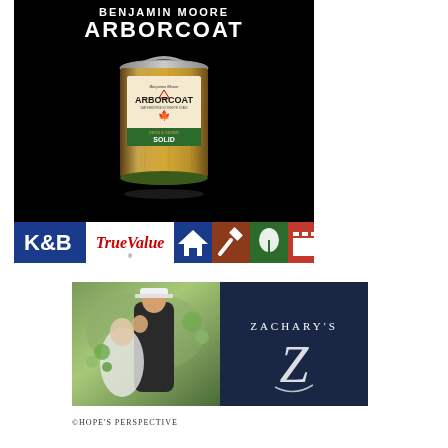[Figure (advertisement): Benjamin Moore Arborcoat Waterborne Exterior Stain product advertisement on black background, showing paint can with wood texture label on dark background, with K&B True Value hardware store banner strip at bottom]
[Figure (advertisement): Zachary's jewelers advertisement showing wedding couple photo on left and Zachary's logo on dark navy background on right]
©HOPE'S PERSPECTIVE